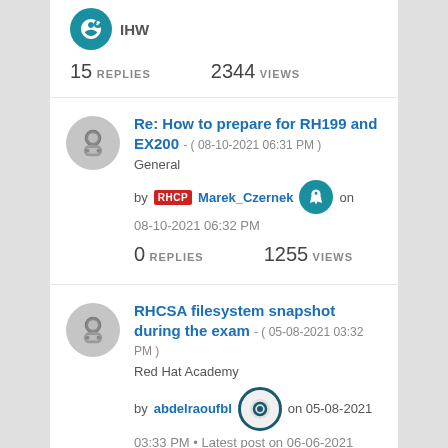IHW • 15 REPLIES • 2344 VIEWS
Re: How to prepare for RH199 and EX200 - ( 08-10-2021 06:31 PM )
General
by RHCP Marek_Czernek on 08-10-2021 06:32 PM
0 REPLIES   1255 VIEWS
RHCSA filesystem snapshot during the exam - ( 05-08-2021 03:32 PM )
Red Hat Academy
by abdelraoufbl on 05-08-2021
03:33 PM • Latest post on 06-06-2021